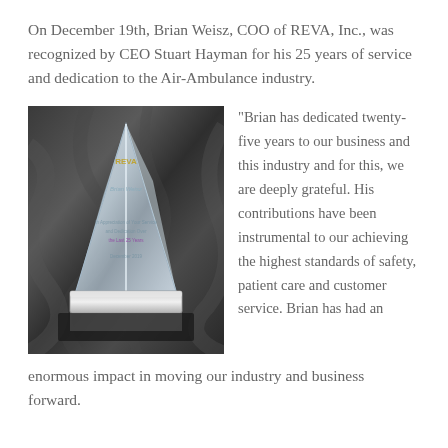On December 19th, Brian Weisz, COO of REVA, Inc., was recognized by CEO Stuart Hayman for his 25 years of service and dedication to the Air-Ambulance industry.
[Figure (photo): A crystal award trophy shaped like a triangle/obelisk bearing the REVA logo and the name Brian Weisz, placed on a silver base, resting on dark satin fabric inside a presentation box.]
“Brian has dedicated twenty-five years to our business and this industry and for this, we are deeply grateful. His contributions have been instrumental to our achieving the highest standards of safety, patient care and customer service. Brian has had an enormous impact in moving our industry and business forward.”